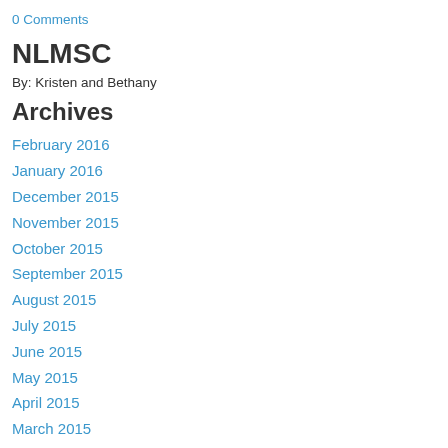0 Comments
NLMSC
By: Kristen and Bethany
Archives
February 2016
January 2016
December 2015
November 2015
October 2015
September 2015
August 2015
July 2015
June 2015
May 2015
April 2015
March 2015
February 2015
January 2015